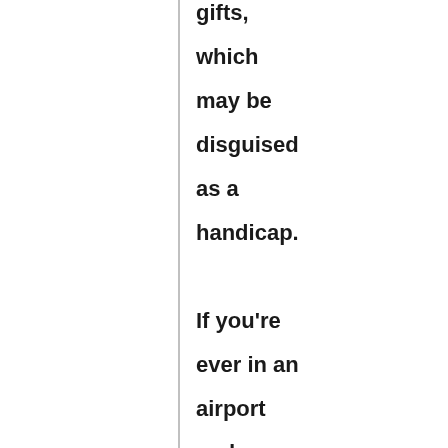gifts, which may be disguised as a handicap. If you're ever in an airport and you see someone walking down the aisle that looks like a [clue...]